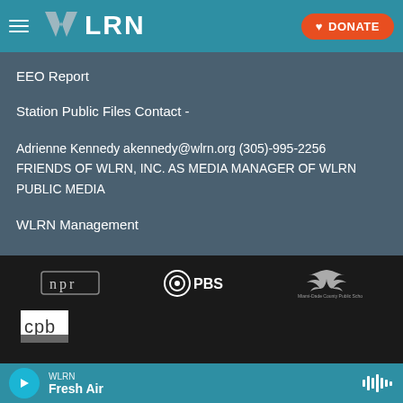WLRN — DONATE
EEO Report
Station Public Files Contact -
Adrienne Kennedy akennedy@wlrn.org (305)-995-2256 FRIENDS OF WLRN, INC. AS MEDIA MANAGER OF WLRN PUBLIC MEDIA
WLRN Management
[Figure (logo): Footer logos: NPR, PBS, Miami-Dade County Public Schools, CPB]
WLRN — Fresh Air